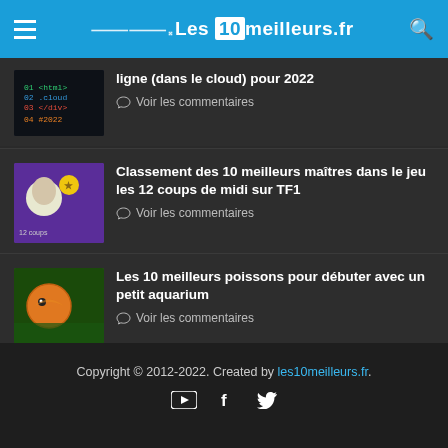Les 10 meilleurs.fr
ligne (dans le cloud) pour 2022
Voir les commentaires
Classement des 10 meilleurs maîtres dans le jeu les 12 coups de midi sur TF1
Voir les commentaires
Les 10 meilleurs poissons pour débuter avec un petit aquarium
Voir les commentaires
Publicité
Copyright © 2012-2022. Created by les10meilleurs.fr.